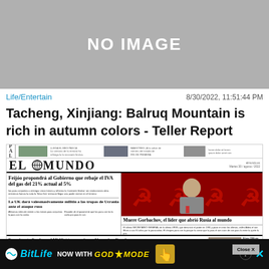[Figure (other): Gray placeholder box with text NO IMAGE]
Life/Entertain
8/30/2022, 11:51:44 PM
Tacheng, Xinjiang: Balruq Mountain is rich in autumn colors - Teller Report
[Figure (screenshot): Screenshot of El Mundo Spanish newspaper front page featuring headlines about Feijóo proposing to lower gas VAT from 21% to 5%, death of Gorbachev, France studying MidCat pipeline, and UK aid to Ukraine. Bottom shows BitLife ad with GOD MODE.]